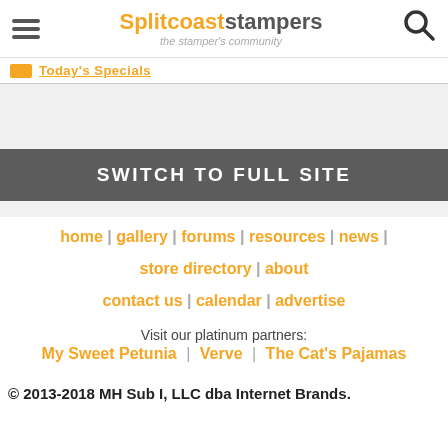Splitcoaststampers — the stamper's community
Today's Specials
SWITCH TO FULL SITE
home | gallery | forums | resources | news | store directory | about | contact us | calendar | advertise
Visit our platinum partners:
My Sweet Petunia | Verve | The Cat's Pajamas
© 2013-2018 MH Sub I, LLC dba Internet Brands.